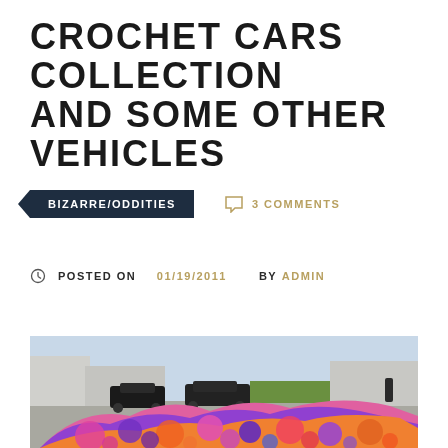CROCHET CARS COLLECTION AND SOME OTHER VEHICLES
BIZARRE/ODDITIES
3 COMMENTS
POSTED ON 01/19/2011  BY ADMIN
[Figure (photo): Photo of a car covered in colorful crochet/yarn art in purple, pink, red and orange patterns, on a city street with other vehicles visible in the background]